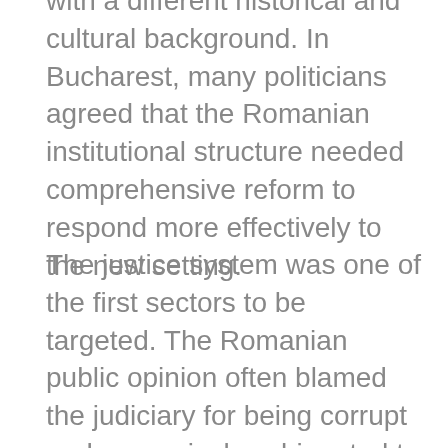with a different historical and cultural background. In Bucharest, many politicians agreed that the Romanian institutional structure needed comprehensive reform to respond more effectively to the new setting.
The justice system was one of the first sectors to be targeted. The Romanian public opinion often blamed the judiciary for being corrupt and excessively subjugated to political power, whereas jurists deemed the system slow and cumbersome.